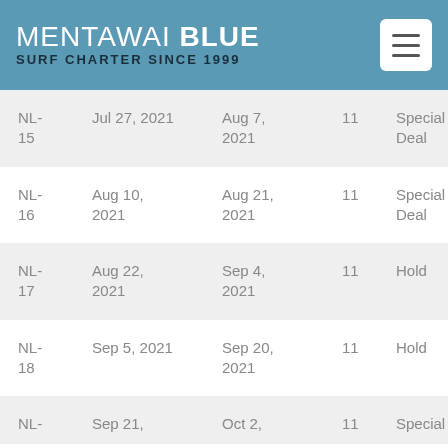MENTAWAI BLUE SURF CHARTER SINCE 1999
| ID | Start | End | Days | Status |
| --- | --- | --- | --- | --- |
| NL-15 | Jul 27, 2021 | Aug 7, 2021 | 11 | Special Deal |
| NL-16 | Aug 10, 2021 | Aug 21, 2021 | 11 | Special Deal |
| NL-17 | Aug 22, 2021 | Sep 4, 2021 | 11 | Hold |
| NL-18 | Sep 5, 2021 | Sep 20, 2021 | 11 | Hold |
| NL- | Sep 21, ... | Oct 2, ... | 11 | Special |